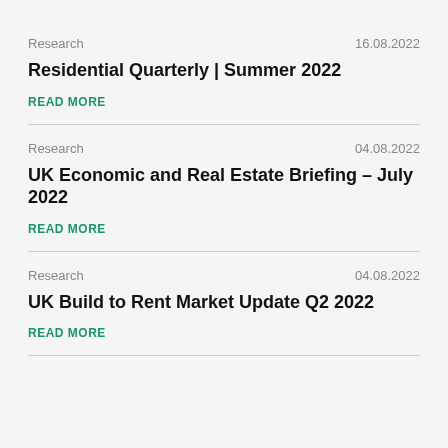Research | 16.08.2022
Residential Quarterly | Summer 2022
READ MORE
Research | 04.08.2022
UK Economic and Real Estate Briefing – July 2022
READ MORE
Research | 04.08.2022
UK Build to Rent Market Update Q2 2022
READ MORE